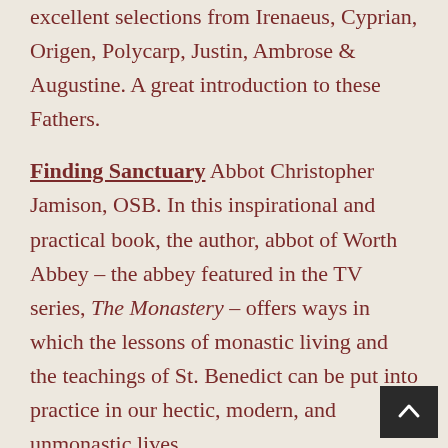excellent selections from Irenaeus, Cyprian, Origen, Polycarp, Justin, Ambrose & Augustine. A great introduction to these Fathers.
Finding Sanctuary Abbot Christopher Jamison, OSB. In this inspirational and practical book, the author, abbot of Worth Abbey – the abbey featured in the TV series, The Monastery – offers ways in which the lessons of monastic living and the teachings of St. Benedict can be put into practice in our hectic, modern, and unmonastic lives.